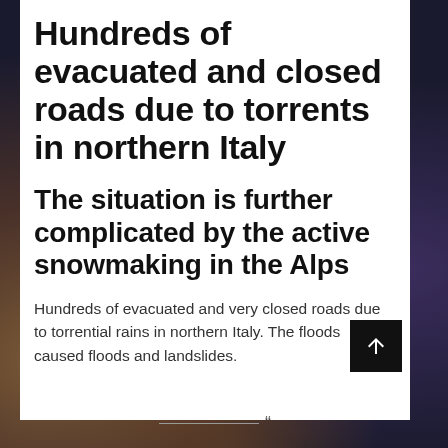Hundreds of evacuated and closed roads due to torrents in northern Italy
The situation is further complicated by the active snowmaking in the Alps
Hundreds of evacuated and very closed roads due to torrential rains in northern Italy. The floods caused floods and landslides.
“